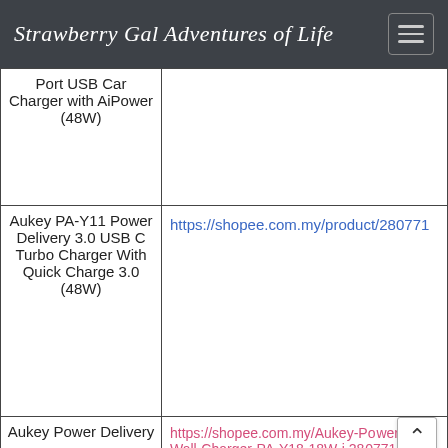Strawberry Gal Adventures of Life
| Product | Link |
| --- | --- |
| Port USB Car Charger with AiPower (48W) |  |
| Aukey PA-Y11 Power Delivery 3.0 USB C Turbo Charger With Quick Charge 3.0 (48W) | https://shopee.com.my/product/280771... |
| Aukey Power Delivery... | https://shopee.com.my/Aukey-Power-C...
Wall-Charger-PA-Y18-18W-i.280771... |